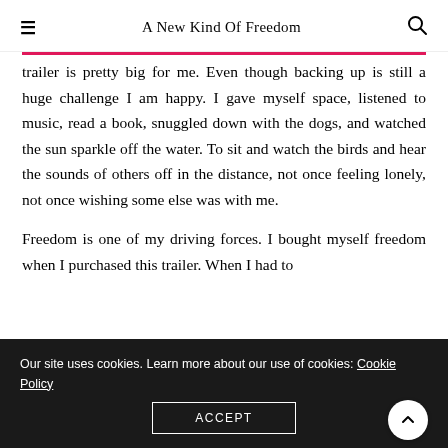A New Kind Of Freedom
trailer is pretty big for me. Even though backing up is still a huge challenge I am happy. I gave myself space, listened to music, read a book, snuggled down with the dogs, and watched the sun sparkle off the water. To sit and watch the birds and hear the sounds of others off in the distance, not once feeling lonely, not once wishing some else was with me.
Freedom is one of my driving forces. I bought myself freedom when I purchased this trailer. When I had to
Our site uses cookies. Learn more about our use of cookies: Cookie Policy